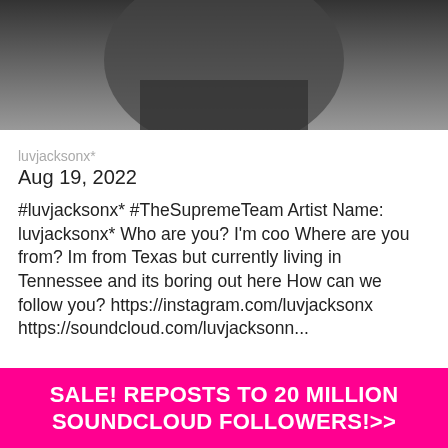[Figure (photo): Top portion of a social media post screenshot showing a dark grayscale photo at the top (partial view of a person in dark clothing)]
luvjacksonx*
Aug 19, 2022
#luvjacksonx* #TheSupremeTeam Artist Name: luvjacksonx* Who are you? I'm coo Where are you from? Im from Texas but currently living in Tennessee and its boring out here How can we follow you? https://instagram.com/luvjacksonx https://soundcloud.com/luvjacksonn...
[Figure (photo): Bottom portion showing a room with wooden/beige furniture, purple decorations, and a watermark 'Dielkethis']
SALE! REPOSTS TO 20 MILLION SOUNDCLOUD FOLLOWERS!>>